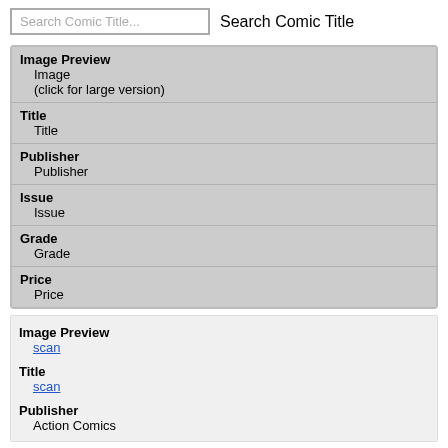Search Comic Title... Search Comic Title
| Image Preview
Image
(click for large version) |
| Title
Title |
| Publisher
Publisher |
| Issue
Issue |
| Grade
Grade |
| Price
Price |
| Image Preview
scan |
| Title
scan |
| Publisher
Action Comics |